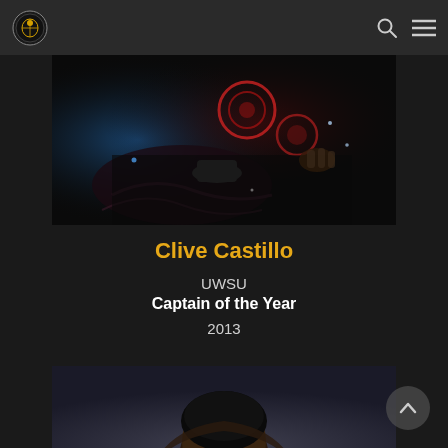Navigation bar with logo, search icon, and menu icon
[Figure (photo): Close-up stage/event photo showing dark scene with red circular decorative elements, blue stage lighting, and hands visible]
Clive Castillo
UWSU
Captain of the Year
2013
[Figure (photo): Partial portrait photo of a person, only top of head visible at bottom of page]